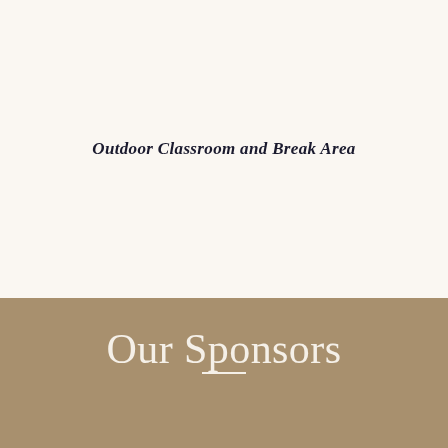Outdoor Classroom and Break Area
Our Sponsors